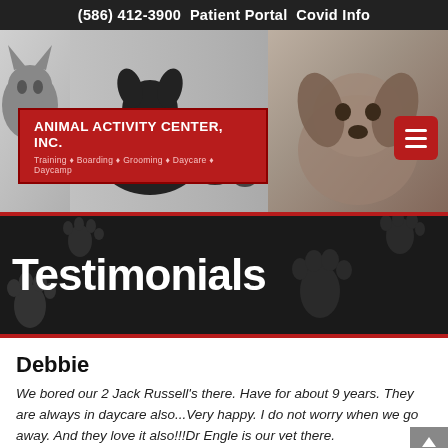(586) 412-3900  Patient Portal  Covid Info
[Figure (screenshot): Animal Activity Center Inc. website header with silhouette animals and puppy photo, red logo box reading 'ANIMAL ACTIVITY CENTER, INC. Training • Boarding • Grooming • Daycare • Daycamp', and hamburger menu button]
Testimonials
Debbie
We bored our 2 Jack Russell's there. Have for about 9 years. They are always in daycare also...Very happy. I do not worry when we go away. And they love it also!!!Dr Engle is our vet there.